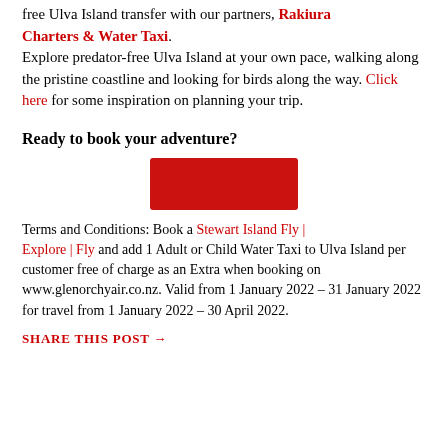free Ulva Island transfer with our partners, Rakiura Charters & Water Taxi. Explore predator-free Ulva Island at your own pace, walking along the pristine coastline and looking for birds along the way. Click here for some inspiration on planning your trip.
Ready to book your adventure?
[Figure (other): Red rectangular button, centered on page]
Terms and Conditions: Book a Stewart Island Fly | Explore | Fly and add 1 Adult or Child Water Taxi to Ulva Island per customer free of charge as an Extra when booking on www.glenorchyair.co.nz. Valid from 1 January 2022 – 31 January 2022 for travel from 1 January 2022 – 30 April 2022.
SHARE THIS POST →